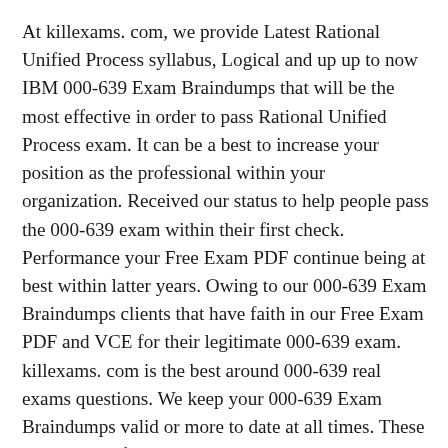At killexams. com, we provide Latest Rational Unified Process syllabus, Logical and up up to now IBM 000-639 Exam Braindumps that will be the most effective in order to pass Rational Unified Process exam. It can be a best to increase your position as the professional within your organization. Received our status to help people pass the 000-639 exam within their first check. Performance your Free Exam PDF continue being at best within latter years. Owing to our 000-639 Exam Braindumps clients that have faith in our Free Exam PDF and VCE for their legitimate 000-639 exam. killexams. com is the best around 000-639 real exams questions. We keep your 000-639 Exam Braindumps valid or more to date at all times. These Rational Unified Process exam dumps will going to help you to pass the exam with